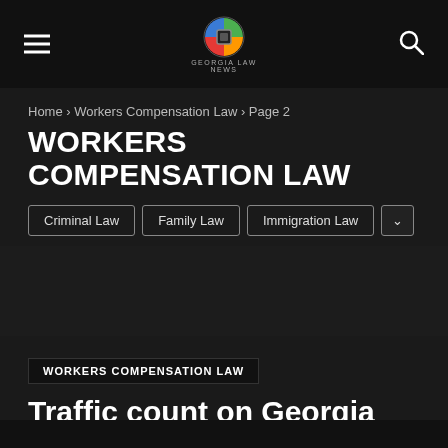Georgia Law News
Home › Workers Compensation Law › Page 2
WORKERS COMPENSATION LAW
Criminal Law
Family Law
Immigration Law
WORKERS COMPENSATION LAW
Traffic count on Georgia Labor Day holiday
- September 4, 2022